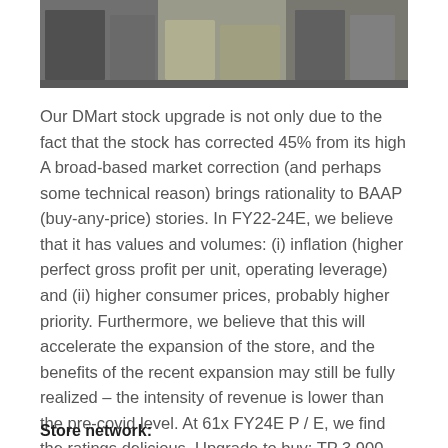[Figure (photo): Retail store interior showing shopping carts and shoppers in a supermarket/grocery store setting.]
Our DMart stock upgrade is not only due to the fact that the stock has corrected 45% from its high A broad-based market correction (and perhaps some technical reason) brings rationality to BAAP (buy-any-price) stories. In FY22-24E, we believe that it has values and volumes: (i) inflation (higher perfect gross profit per unit, operating leverage) and (ii) higher consumer prices, probably higher priority. Furthermore, we believe that this will accelerate the expansion of the store, and the benefits of the recent expansion may still be fully realized – the intensity of revenue is lower than the pre-covid level. At 61x FY24E P / E, we find the ratings delicious. Upgrade to buy; TP 3,900.
Store network: